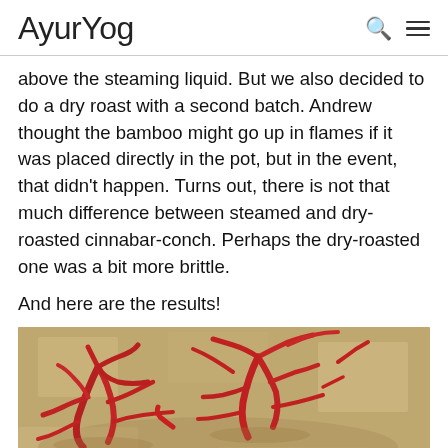AyurYog
above the steaming liquid. But we also decided to do a dry roast with a second batch. Andrew thought the bamboo might go up in flames if it was placed directly in the pot, but in the event, that didn't happen. Turns out, there is not that much difference between steamed and dry-roasted cinnabar-conch. Perhaps the dry-roasted one was a bit more brittle.
And here are the results!
[Figure (photo): Photo of dried red coral or cinnabar-conch pieces laid out on a stone surface in sunlight, showing reddish-orange branching fragments.]